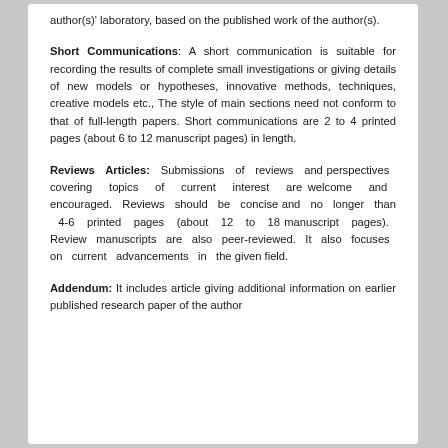author(s)' laboratory, based on the published work of the author(s).
Short Communications: A short communication is suitable for recording the results of complete small investigations or giving details of new models or hypotheses, innovative methods, techniques, creative models etc., The style of main sections need not conform to that of full-length papers. Short communications are 2 to 4 printed pages (about 6 to 12 manuscript pages) in length.
Reviews Articles: Submissions of reviews and perspectives covering topics of current interest are welcome and encouraged. Reviews should be concise and no longer than 4-6 printed pages (about 12 to 18 manuscript pages). Review manuscripts are also peer-reviewed. It also focuses on current advancements in the given field.
Addendum: It includes article giving additional information on earlier published research paper of the author